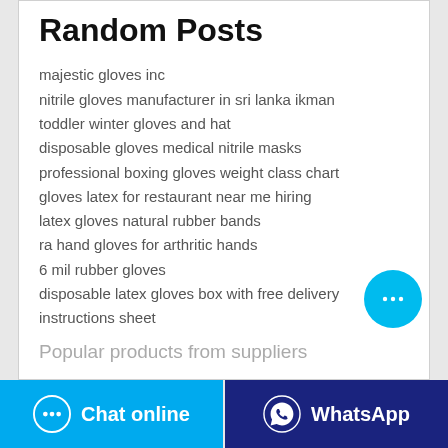Random Posts
majestic gloves inc
nitrile gloves manufacturer in sri lanka ikman
toddler winter gloves and hat
disposable gloves medical nitrile masks
professional boxing gloves weight class chart
gloves latex for restaurant near me hiring
latex gloves natural rubber bands
ra hand gloves for arthritic hands
6 mil rubber gloves
disposable latex gloves box with free delivery instructions sheet
Popular products from suppliers
Chat online
WhatsApp